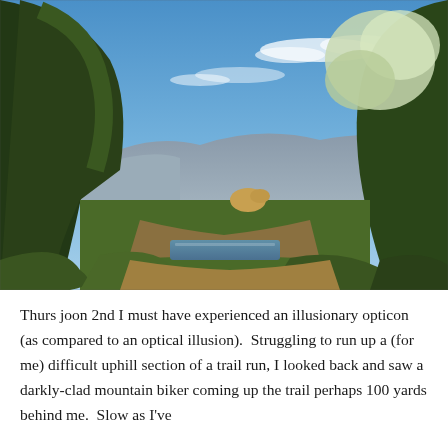[Figure (photo): Outdoor nature photograph showing a trail or canal path with lush green trees on both sides, blue sky with wispy clouds above, mountains visible in the background, and sunlit foliage.]
Thurs joon 2nd I must have experienced an illusionary opticon (as compared to an optical illusion).  Struggling to run up a (for me) difficult uphill section of a trail run, I looked back and saw a darkly-clad mountain biker coming up the trail perhaps 100 yards behind me.  Slow as I've